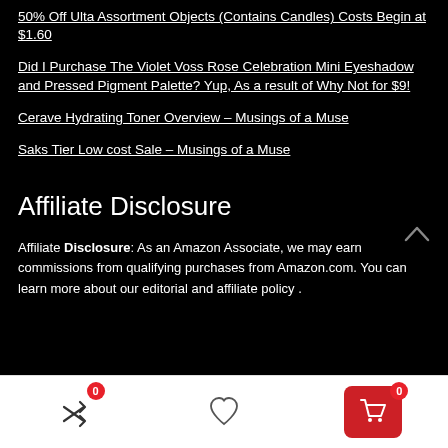50% Off Ulta Assortment Objects (Contains Candles) Costs Begin at $1.60
Did I Purchase The Violet Voss Rose Celebration Mini Eyeshadow and Pressed Pigment Palette? Yup, As a result of Why Not for $9!
Cerave Hydrating Toner Overview – Musings of a Muse
Saks Tier Low cost Sale – Musings of a Muse
Affiliate Disclosure
Affiliate Disclosure: As an Amazon Associate, we may earn commissions from qualifying purchases from Amazon.com. You can learn more about our editorial and affiliate policy .
[Figure (other): Mobile app bottom navigation bar with shuffle/compare icon (badge 0), heart/wishlist icon, and red cart icon (badge 0)]